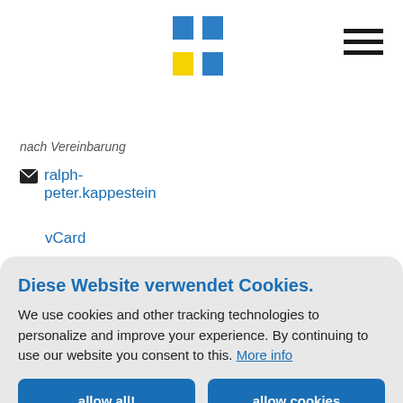[Figure (logo): Blue and yellow plus/cross logo in center top]
[Figure (other): Hamburger menu icon (three horizontal lines) in top right]
nach Vereinbarung
ralph-peter.kappestein
vCard
Mehr erfahren
Diese Website verwendet Cookies.
We use cookies and other tracking technologies to personalize and improve your experience. By continuing to use our website you consent to this. More info
allow all!
allow cookies